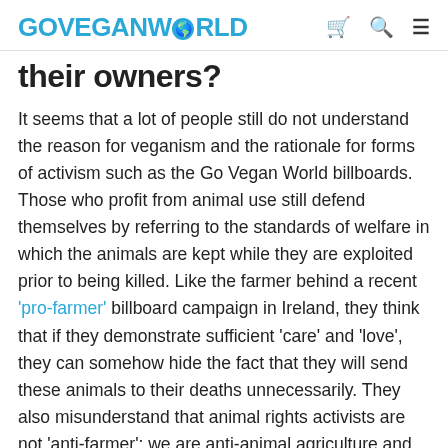GOVEGANWORLD
their owners?
It seems that a lot of people still do not understand the reason for veganism and the rationale for forms of activism such as the Go Vegan World billboards. Those who profit from animal use still defend themselves by referring to the standards of welfare in which the animals are kept while they are exploited prior to being killed. Like the farmer behind a recent 'pro-farmer' billboard campaign in Ireland, they think that if they demonstrate sufficient 'care' and 'love', they can somehow hide the fact that they will send these animals to their deaths unnecessarily. They also misunderstand that animal rights activists are not 'anti-farmer'; we are anti-animal agriculture and we understand that farmers are used as pawns in a larger, highly exploitative system that profits from the unjust